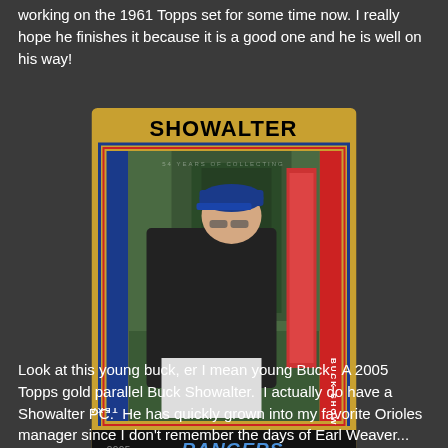working on the 1961 Topps set for some time now. I really hope he finishes it because it is a good one and he is well on his way!
[Figure (photo): 2005 Topps gold parallel baseball card of Buck Showalter, Texas Rangers manager. The card shows Showalter in profile wearing a dark shirt and blue cap. The card has a gold border with blue and red inner borders, 'SHOWALTER' printed at the top in black, 'TEXAS RANGERS' vertically on the left blue strip, 'BUCK SHOWALTER' vertically on the right red strip, and 'RANGERS.' with the Topps logo and '2005' at the bottom.]
Look at this young buck, er I mean young Buck.  A 2005 Topps gold parallel Buck Showalter.  I actually do have a Showalter PC.  He has quickly grown into my favorite Orioles manager since I don't remember the days of Earl Weaver...